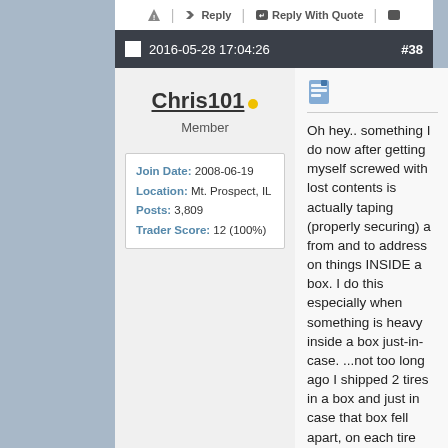Reply | Reply With Quote
2016-05-28 17:04:26  #38
Chris101
Member
| Join Date: | 2008-06-19 |
| Location: | Mt. Prospect, IL |
| Posts: | 3,809 |
| Trader Score: | 12 (100%) |
Oh hey.. something I do now after getting myself screwed with lost contents is actually taping (properly securing) a from and to address on things INSIDE a box. I do this especially when something is heavy inside a box just-in-case. ...not too long ago I shipped 2 tires in a box and just in case that box fell apart, on each tire was a to/from address label taped with package tape in such a way that there was no way it was going anywhere.. It's just my way as a